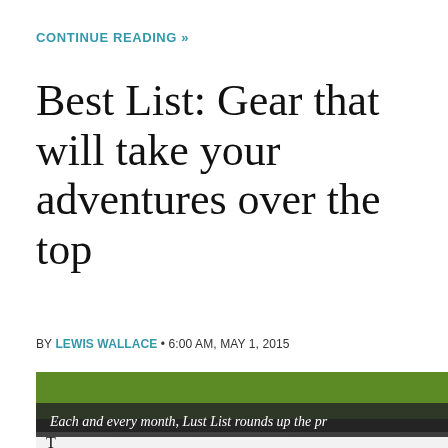CONTINUE READING »
Best List: Gear that will take your adventures over the top
BY LEWIS WALLACE • 6:00 AM, MAY 1, 2015
[Figure (screenshot): Screenshot of a webpage showing a green navigation bar with 'REVIEWS' and 'TOP STORIES' links, an image of a cable/charging device on a gray background, an expand/fullscreen icon button, a dark overlay caption reading 'Each and every month, Lust List rounds up the pr', and a partially visible text line at the bottom.]